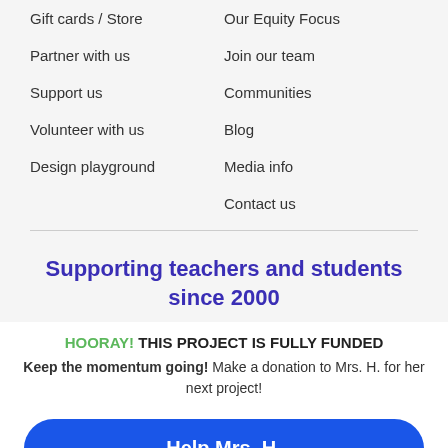Gift cards / Store
Our Equity Focus
Partner with us
Join our team
Support us
Communities
Volunteer with us
Blog
Design playground
Media info
Contact us
Supporting teachers and students since 2000
HOORAY! THIS PROJECT IS FULLY FUNDED
Keep the momentum going! Make a donation to Mrs. H. for her next project!
Help Mrs. H.